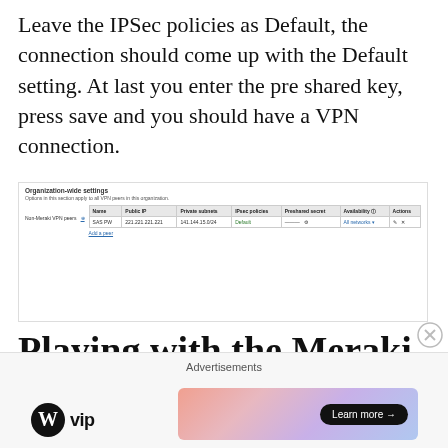Leave the IPSec policies as Default, the connection should come up with the Default setting. At last you enter the pre shared key, press save and you should have a VPN connection.
[Figure (screenshot): Screenshot of Meraki Organization-wide settings panel showing Non-Meraki VPN peers table with a peer named 'SAS PW' with Public IP 221.221.221.221 and Private subnets 141.144.15.0/24, IPSec policies 'Default', Preshared secret field, Availability 'All networks' and Actions buttons. An 'Add a peer' link appears below.]
Playing with the Meraki API
Advertisements
[Figure (logo): WordPress VIP logo (WordPress W icon followed by 'vip' text)]
[Figure (illustration): Advertisement banner with gradient pink/purple background and a 'Learn more →' button in black pill shape]